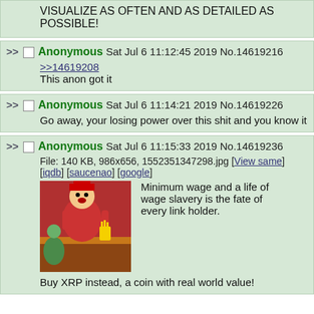VISUALIZE AS OFTEN AND AS DETAILED AS POSSIBLE!
Anonymous Sat Jul 6 11:12:45 2019 No.14619216
>>14619208
This anon got it
Anonymous Sat Jul 6 11:14:21 2019 No.14619226
Go away, your losing power over this shit and you know it
Anonymous Sat Jul 6 11:15:33 2019 No.14619236
File: 140 KB, 986x656, 1552351347298.jpg [View same] [iqdb] [saucenao] [google]
Minimum wage and a life of wage slavery is the fate of every link holder.
Buy XRP instead, a coin with real world value!
[Figure (illustration): Cartoon image of a character in red uniform at a fast food counter]